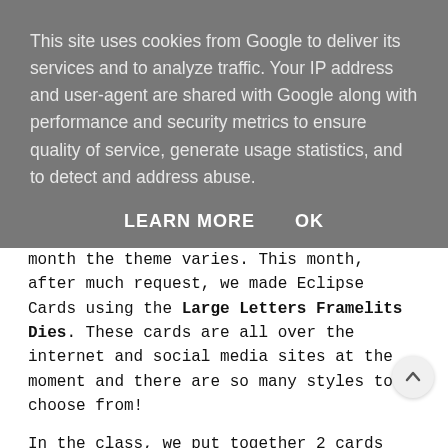This site uses cookies from Google to deliver its services and to analyze traffic. Your IP address and user-agent are shared with Google along with performance and security metrics to ensure quality of service, generate usage statistics, and to detect and address abuse.
LEARN MORE   OK
month the theme varies. This month, after much request, we made Eclipse Cards using the Large Letters Framelits Dies. These cards are all over the internet and social media sites at the moment and there are so many styles to choose from!
In the class, we put together 2 cards using different techniques to layer the letters and it was lots of fun!
The first card that I am going to show you uses a technique whereby you layer each individual letter with an